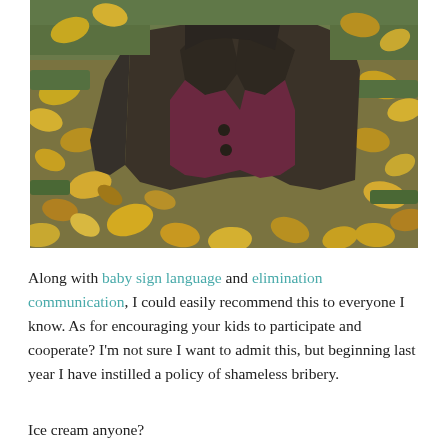[Figure (photo): An autumn outdoor scene showing a dark brown jacket or coat lying on grass covered with fallen yellow, orange, and brown autumn leaves. The jacket appears open, revealing a dark reddish-purple interior lining. The background shows more fallen leaves scattered across green grass.]
Along with baby sign language and elimination communication, I could easily recommend this to everyone I know. As for encouraging your kids to participate and cooperate? I'm not sure I want to admit this, but beginning last year I have instilled a policy of shameless bribery.
Ice cream anyone?